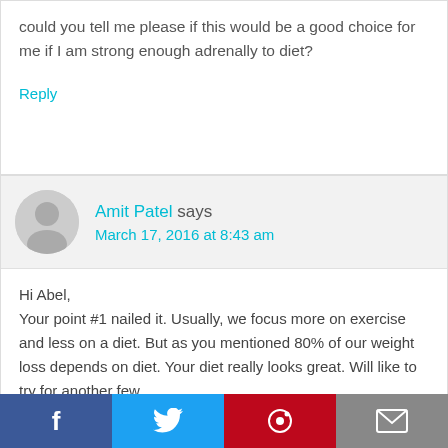could you tell me please if this would be a good choice for me if I am strong enough adrenally to diet?
Reply
Amit Patel says
March 17, 2016 at 8:43 am
Hi Abel,
Your point #1 nailed it. Usually, we focus more on exercise and less on a diet. But as you mentioned 80% of our weight loss depends on diet. Your diet really looks great. Will like to try for another few
[Figure (infographic): Social sharing bar with Facebook, Twitter, Pinterest, and email icons at the bottom of the page]